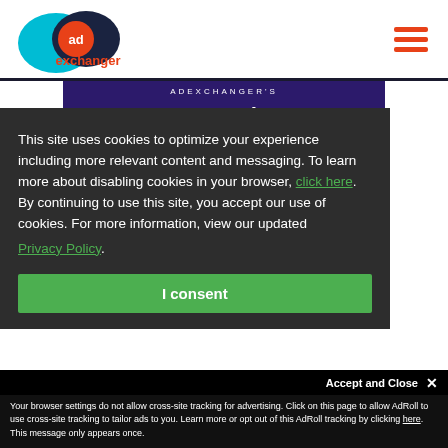[Figure (logo): AdExchanger logo with overlapping cyan oval and dark blue oval, orange 'ad' circle badge, and 'exchanger' text in orange below]
[Figure (screenshot): AdExchanger's Programmatic IO banner with white bold italic text on dark purple background, with orange lightning bolt arrow]
This site uses cookies to optimize your experience including more relevant content and messaging. To learn more about disabling cookies in your browser, click here.  By continuing to use this site, you accept our use of cookies. For more information, view our updated Privacy Policy.
[Figure (other): Green 'I consent' button]
Accept and Close ✕
Your browser settings do not allow cross-site tracking for advertising. Click on this page to allow AdRoll to use cross-site tracking to tailor ads to you. Learn more or opt out of this AdRoll tracking by clicking here. This message only appears once.